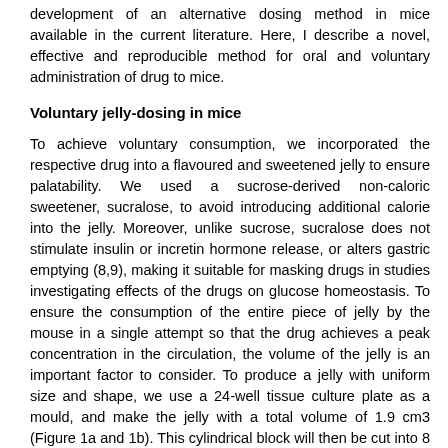development of an alternative dosing method in mice available in the current literature. Here, I describe a novel, effective and reproducible method for oral and voluntary administration of drug to mice.
Voluntary jelly-dosing in mice
To achieve voluntary consumption, we incorporated the respective drug into a flavoured and sweetened jelly to ensure palatability. We used a sucrose-derived non-caloric sweetener, sucralose, to avoid introducing additional calorie into the jelly. Moreover, unlike sucrose, sucralose does not stimulate insulin or incretin hormone release, or alters gastric emptying (8,9), making it suitable for masking drugs in studies investigating effects of the drugs on glucose homeostasis. To ensure the consumption of the entire piece of jelly by the mouse in a single attempt so that the drug achieves a peak concentration in the circulation, the volume of the jelly is an important factor to consider. To produce a jelly with uniform size and shape, we use a 24-well tissue culture plate as a mould, and make the jelly with a total volume of 1.9 cm3 (Figure 1a and 1b). This cylindrical block will then be cut into 8 equal pieces with a scalpel and one of these pieces with an approximate volume of 0.24 cm3, will be given to a mouse of 30g (Figure 1c). This volume of jelly can be consumed by a mouse in a single attempt that takes less then 1 minute (Supplementary Video 1 and 2). Since mice exert innate avoidance to novel food 10, a training period is necessary for mice to overcome neophobia and eat the jelly. The training involves fasting the singly housed mouse overnight followed by vehicle jelly (that doesn't